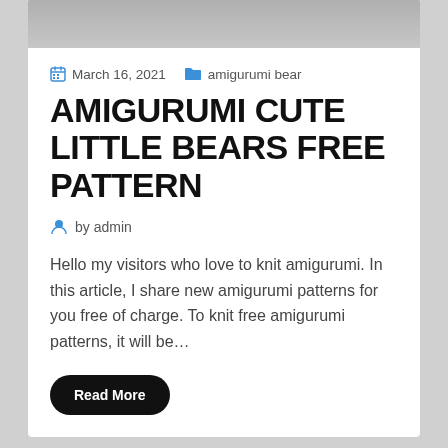[Figure (photo): Top portion of a photo visible above the article card, appears to be a blurred/cropped background image]
March 16, 2021   amigurumi bear
AMIGURUMI CUTE LITTLE BEARS FREE PATTERN
by admin
Hello my visitors who love to knit amigurumi. In this article, I share new amigurumi patterns for you free of charge. To knit free amigurumi patterns, it will be…
Read More